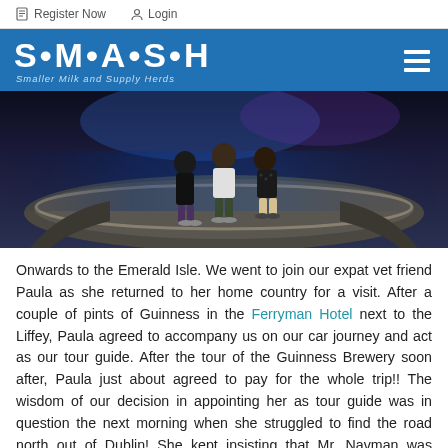Register Now   Login
[Figure (logo): SMASH logo — white bold text on blue background with subtitle 'Smaller Milk and Supply Herds' and hamburger menu icon]
[Figure (photo): Three people standing in front of a large fountain at night, illuminated with blue and purple lighting]
Onwards to the Emerald Isle. We went to join our expat vet friend Paula as she returned to her home country for a visit. After a couple of pints of Guinness in the Ferryman Hotel next to the Liffey, Paula agreed to accompany us on our car journey and act as our tour guide. After the tour of the Guinness Brewery soon after, Paula just about agreed to pay for the whole trip!! The wisdom of our decision in appointing her as tour guide was in question the next morning when she struggled to find the road north out of Dublin! She kept insisting that Mr. Navman was incorrect.